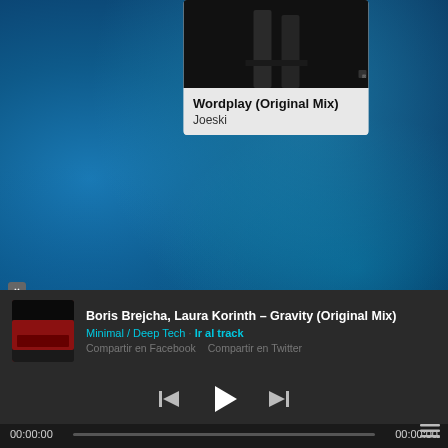[Figure (screenshot): Music streaming app UI screenshot showing two album cards visible: 'Wordplay (Original Mix)' by Joeski with dark cover art, and 'Blinding Lights (Hugo Cor...' with The Weeknd's album art on golden background. Bottom player bar shows Boris Brejcha, Laura Korinth – Gravity (Original Mix) playing, genre Minimal / Deep Tech, with share options and playback controls (previous, play, next) and time display 00:00:00 on both sides.]